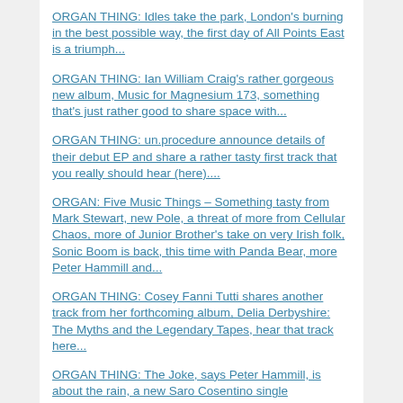ORGAN THING: Idles take the park, London's burning in the best possible way, the first day of All Points East is a triumph...
ORGAN THING: Ian William Craig's rather gorgeous new album, Music for Magnesium 173, something that's just rather good to share space with...
ORGAN THING: un.procedure announce details of their debut EP and share a rather tasty first track that you really should hear (here)....
ORGAN: Five Music Things – Something tasty from Mark Stewart, new Pole, a threat of more from Cellular Chaos, more of Junior Brother's take on very Irish folk, Sonic Boom is back, this time with Panda Bear, more Peter Hammill and...
ORGAN THING: Cosey Fanni Tutti shares another track from her forthcoming album, Delia Derbyshire: The Myths and the Legendary Tapes, hear that track here...
ORGAN THING: The Joke, says Peter Hammill, is about the rain, a new Saro Cosentino single